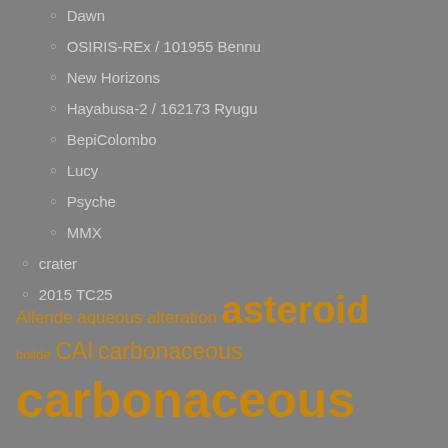Dawn
OSIRIS-REx / 101955 Bennu
New Horizons
Hayabusa-2 / 162173 Ryugu
BepiColombo
Lucy
Psyche
MMX
crater
2015 TC25
[Figure (infographic): Tag cloud with scientific terms in orange/amber color on gray background. Terms include: Allende, aqueous alteration, asteroid (large), bolide, CAI, carbonaceous (medium), carbonaceous chondrite (very large), Chelyabinsk / Челябинск (medium), chondrule, chondrule formation, CI (small), CM (large), CO (small), comet, CR, CV, early solar system, Earth, enstatite. Font sizes vary indicating frequency/importance.]